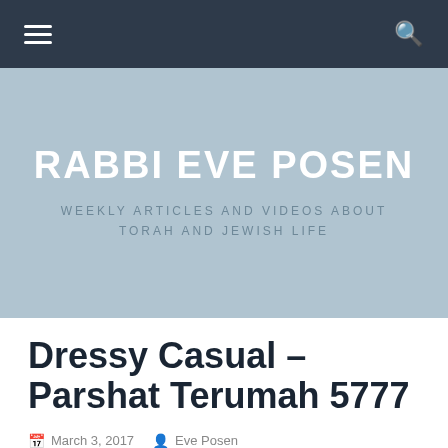Navigation bar with hamburger menu and search icon
[Figure (other): Hero banner with light blue-grey background containing the site title and subtitle]
RABBI EVE POSEN
WEEKLY ARTICLES AND VIDEOS ABOUT TORAH AND JEWISH LIFE
Dressy Casual – Parshat Terumah 5777
March 3, 2017  Eve Posen